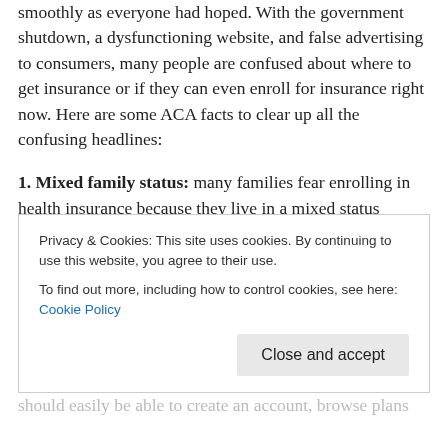smoothly as everyone had hoped. With the government shutdown, a dysfunctioning website, and false advertising to consumers, many people are confused about where to get insurance or if they can even enroll for insurance right now. Here are some ACA facts to clear up all the confusing headlines:
1. Mixed family status: many families fear enrolling in health insurance because they live in a mixed status household. The ACA is NOT acting as immigration control. Encourage families to enroll. To learn more about this, and to view an ACA and Immigration FAQ list, visit the NASW...
Privacy & Cookies: This site uses cookies. By continuing to use this website, you agree to their use. To find out more, including how to control cookies, see here: Cookie Policy
Close and accept